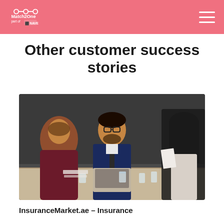Match2One
Other customer success stories
[Figure (photo): Three business professionals sitting around a conference table with a laptop and glasses of water. A man in a blue suit with glasses sits in the center smiling, a woman in a dark top sits on the left, and a woman in a black hijab sits on the right holding documents.]
InsuranceMarket.ae – Insurance